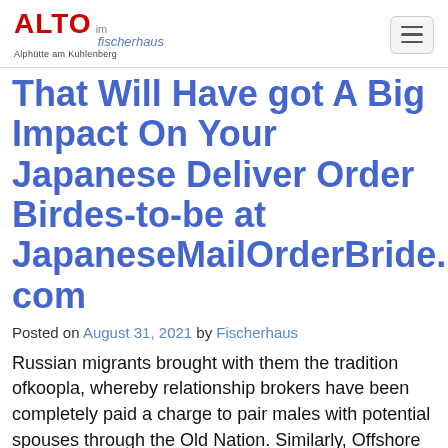ALTO im fischerhaus Alphütte am Kuhlenberg
That Will Have got A Big Impact On Your Japanese Deliver Order Birdes-to-be at JapaneseMailOrderBride.com
Posted on August 31, 2021 by Fischerhaus
Russian migrants brought with them the tradition ofkoopla, whereby relationship brokers have been completely paid a charge to pair males with potential spouses through the Old Nation. Similarly, Offshore and Japoneses obtained "image brides" from their homelands, women